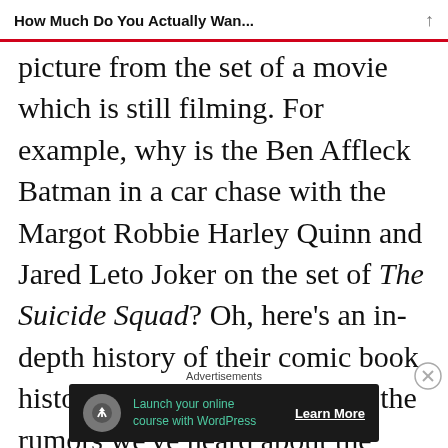How Much Do You Actually Wan...
picture from the set of a movie which is still filming. For example, why is the Ben Affleck Batman in a car chase with the Margot Robbie Harley Quinn and Jared Leto Joker on the set of The Suicide Squad? Oh, here’s an in-depth history of their comic book history, and a run-down of all the rumors we’ve heard about the script
[Figure (other): Advertisement banner: Launch your online course with WordPress – Learn More]
Advertisements